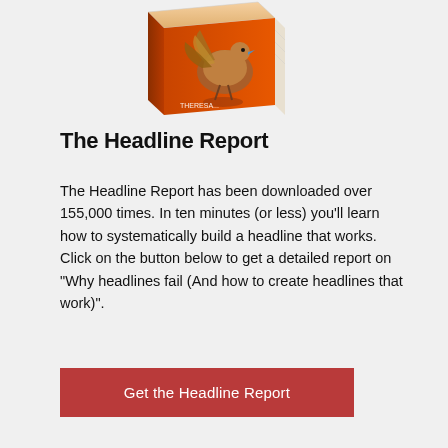[Figure (illustration): A 3D book with an orange cover featuring a stylized turkey or bird illustration, shown at an angle as if standing upright]
The Headline Report
The Headline Report has been downloaded over 155,000 times. In ten minutes (or less) you'll learn how to systematically build a headline that works. Click on the button below to get a detailed report on "Why headlines fail (And how to create headlines that work)".
Get the Headline Report